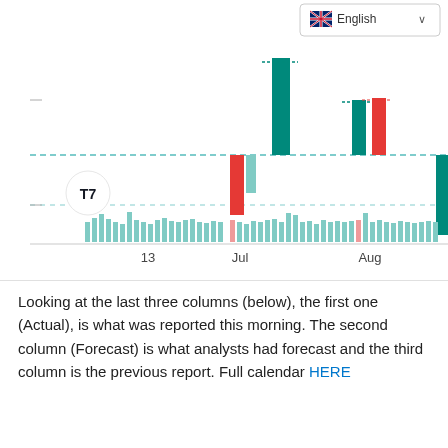[Figure (bar-chart): A financial chart with teal and red vertical bars representing economic data over time, with a dashed reference line. X-axis shows dates: 13, Jul, Aug. Small teal bars at bottom show volume/frequency. TradingView watermark visible. English language selector in top right.]
Looking at the last three columns (below), the first one (Actual), is what was reported this morning. The second column (Forecast) is what analysts had forecast and the third column is the previous report. Full calendar HERE